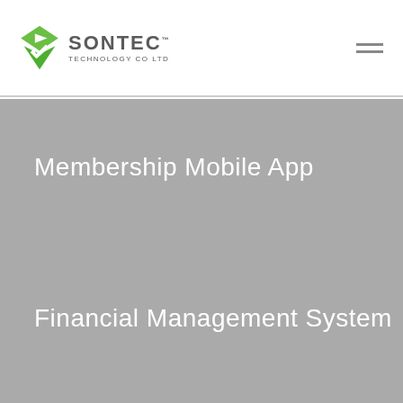[Figure (logo): Sontec Technology Co Ltd logo with green checkmark/arrow icon and grey brand text]
Membership Mobile App
Financial Management System